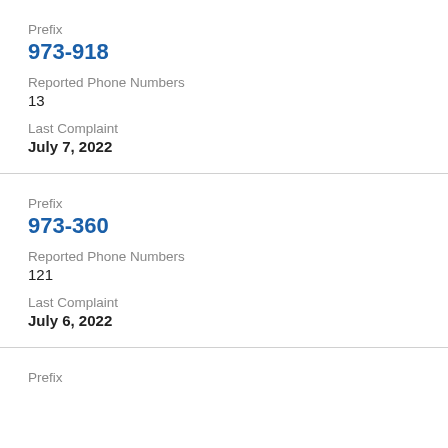Prefix
973-918
Reported Phone Numbers
13
Last Complaint
July 7, 2022
Prefix
973-360
Reported Phone Numbers
121
Last Complaint
July 6, 2022
Prefix